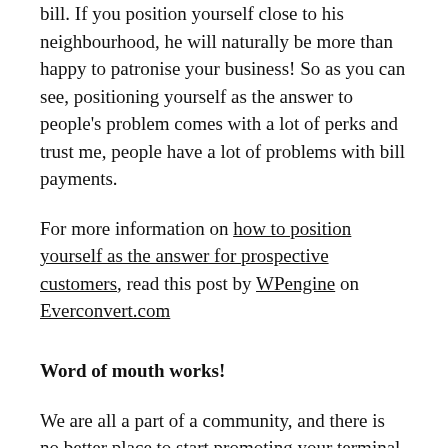bill. If you position yourself close to his neighbourhood, he will naturally be more than happy to patronise your business! So as you can see, positioning yourself as the answer to people's problem comes with a lot of perks and trust me, people have a lot of problems with bill payments.
For more information on how to position yourself as the answer for prospective customers, read this post by WPengine on Everconvert.com
Word of mouth works!
We are all a part of a community, and there is no better place to start promoting your terminal agent business than in your community. For one, your close community is possibly your strongest support system and they are always almost certainly within the proximity of your business.